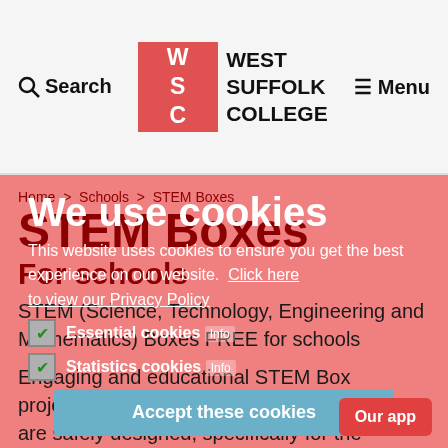Search | West Suffolk College | Menu
[Figure (logo): West Suffolk College logo with WSC initials in red box]
Home > Schools > STEM Boxes
STEM Boxes
For schools
STEM (Science, Technology, Engineering and Mathematics) Boxes FREE for schools
Engaging and educational STEM Box projects. These practical hands-on activities are safely designed, specifically for the children to carry out themselves.
We use cookies
This website uses cookies to ensure you get the best experience on our website. Click here to view our Privacy Policy
Essential cookies Info
Statistics cookies Info
Accept these cookies
Our app